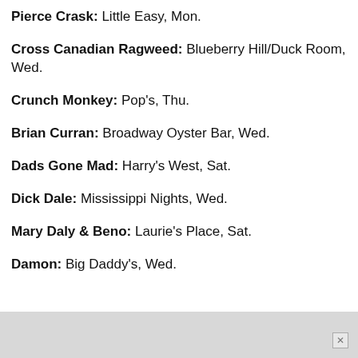Pierce Crask: Little Easy, Mon.
Cross Canadian Ragweed: Blueberry Hill/Duck Room, Wed.
Crunch Monkey: Pop's, Thu.
Brian Curran: Broadway Oyster Bar, Wed.
Dads Gone Mad: Harry's West, Sat.
Dick Dale: Mississippi Nights, Wed.
Mary Daly & Beno: Laurie's Place, Sat.
Damon: Big Daddy's, Wed.